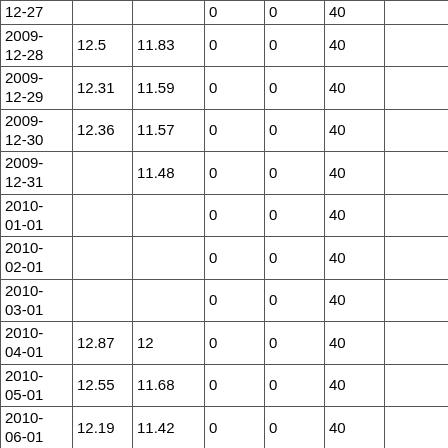| 12-27 |  |  | 0 | 0 | 40 |  |
| 2009-12-28 | 12.5 | 11.83 | 0 | 0 | 40 |  |
| 2009-12-29 | 12.31 | 11.59 | 0 | 0 | 40 |  |
| 2009-12-30 | 12.36 | 11.57 | 0 | 0 | 40 |  |
| 2009-12-31 |  | 11.48 | 0 | 0 | 40 |  |
| 2010-01-01 |  |  | 0 | 0 | 40 |  |
| 2010-02-01 |  |  | 0 | 0 | 40 |  |
| 2010-03-01 |  |  | 0 | 0 | 40 |  |
| 2010-04-01 | 12.87 | 12 | 0 | 0 | 40 |  |
| 2010-05-01 | 12.55 | 11.68 | 0 | 0 | 40 |  |
| 2010-06-01 | 12.19 | 11.42 | 0 | 0 | 40 |  |
| 2010-07-01 | 12.39 | 11.66 | 0 | 0 | 40 |  |